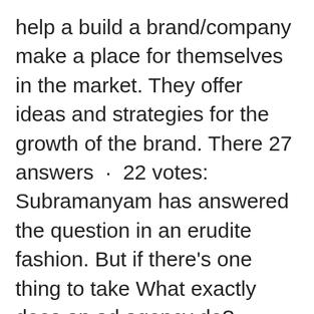help a build a brand/company make a place for themselves in the market. They offer ideas and strategies for the growth of the brand. There 27 answers · 22 votes: Subramanyam has answered the question in an erudite fashion. But if there's one thing to take What exactly does an ad agency do? – Quora18 answersDec 25, 2014What is the process of an advertising agency? How 1 answerDec 24, 2014What is it like to work at an advertising agency? What 15 answersAug 5, 2017How do digital